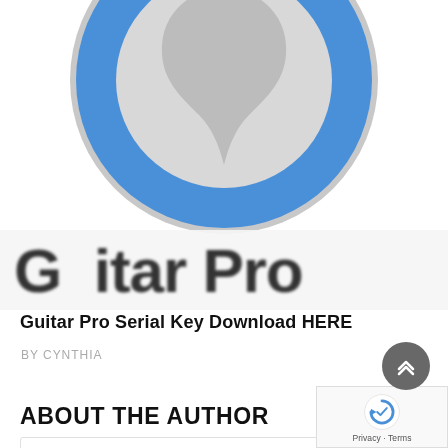[Figure (logo): Guitar Pro app icon — circular blue ring with a grey guitar pick shape in the center, partially cropped at top]
[Figure (screenshot): Blurred/cropped banner showing partial text 'Guitar Pro' in large bold dark letters on a light grey background]
Guitar Pro Serial Key Download HERE
BY CYNTHIA
ABOUT THE AUTHOR
[Figure (other): Start of an author box with a border, partially visible at the bottom of the page]
[Figure (other): Scroll-to-top button: dark grey circle with double up-chevron arrows]
[Figure (other): reCAPTCHA privacy/terms overlay box in bottom-right corner]